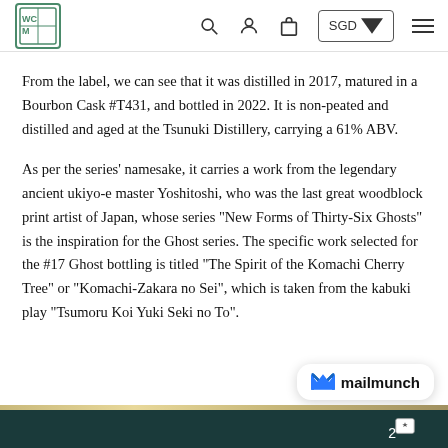Navigation header with logo, search, account, cart, SGD currency selector, and menu icons
From the label, we can see that it was distilled in 2017, matured in a Bourbon Cask #T431, and bottled in 2022. It is non-peated and distilled and aged at the Tsunuki Distillery, carrying a 61% ABV.
As per the series' namesake, it carries a work from the legendary ancient ukiyo-e master Yoshitoshi, who was the last great woodblock print artist of Japan, whose series "New Forms of Thirty-Six Ghosts" is the inspiration for the Ghost series. The specific work selected for the #17 Ghost bottling is titled "The Spirit of the Komachi Cherry Tree" or "Komachi-Zakara no Sei", which is taken from the kabuki play "Tsumoru Koi Yuki Seki no To".
2